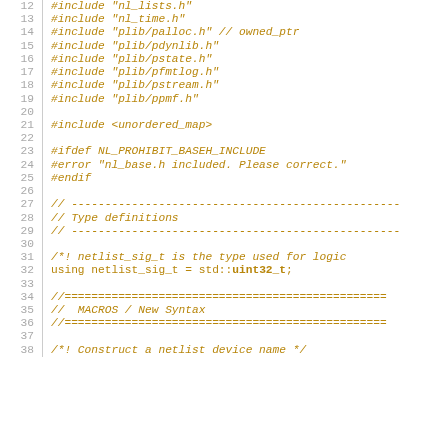Code snippet lines 12-38 showing C++ header file includes, type definitions, and macros section. Lines include: #include "nl_lists.h", #include "nl_time.h", #include "plib/palloc.h" // owned_ptr, #include "plib/pdynlib.h", #include "plib/pstate.h", #include "plib/pfmtlog.h", #include "plib/pstream.h", #include "plib/ppmf.h", #include <unordered_map>, #ifdef NL_PROHIBIT_BASEH_INCLUDE, #error "nl_base.h included. Please correct.", #endif, // --- (separator), // Type definitions, // --- (separator), /*! netlist_sig_t is the type used for logic, using netlist_sig_t = std::uint32_t;, //=== (separator), //  MACROS / New Syntax, //=== (separator), /*! Construct a netlist device name */